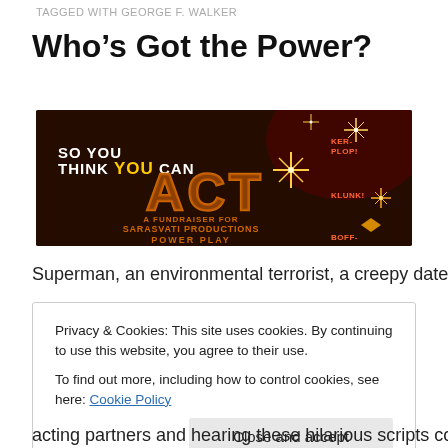TAGGED WITH GEORGE F. WALKER
Who's Got the Power?
[Figure (illustration): Dark themed promotional banner for 'So You Think You Can ACT' fundraiser for Sarasvati Productions Power Play, with star/sparkle effects and comic sound-effect words like KER-PLOP!, KLUNK!, BOFF-]
Superman, an environmental terrorist, a creepy date and a
Privacy & Cookies: This site uses cookies. By continuing to use this website, you agree to their use.
To find out more, including how to control cookies, see here: Cookie Policy
[Close and accept]
acting partners and hearing these hilarious scripts come